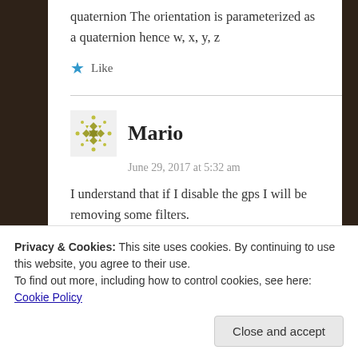quaternion The orientation is parameterized as a quaternion hence w, x, y, z
★ Like
Mario
June 29, 2017 at 5:32 am
I understand that if I disable the gps I will be removing some filters.
Privacy & Cookies: This site uses cookies. By continuing to use this website, you agree to their use.
To find out more, including how to control cookies, see here: Cookie Policy
Close and accept
At this point I have the vrop node.